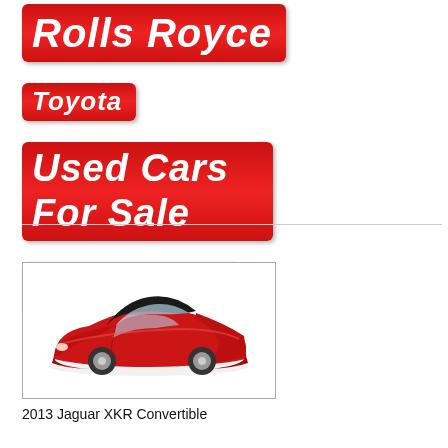Rolls Royce
Toyota
Used Cars For Sale
Volkswagen
[Figure (photo): Red 2013 Jaguar XKR Convertible sports car, side/front view, white background]
2013 Jaguar XKR Convertible